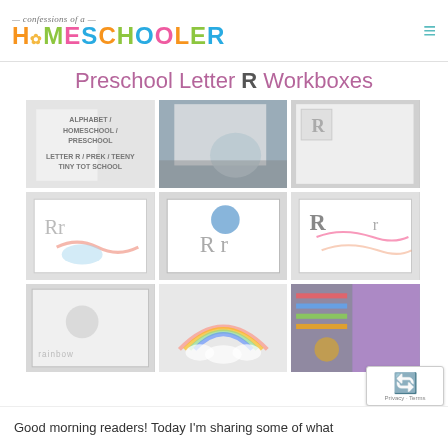confessions of a HOMESCHOOLER
Preschool Letter R Workboxes
[Figure (photo): 9-photo grid showing preschool letter R workbox activities: letter tracing worksheets, rainbow themed activities, writing practice pages, and organized school supplies drawer]
Good morning readers! Today I'm sharing some of what